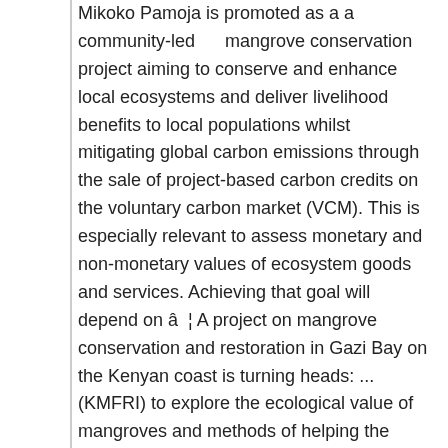Mikoko Pamoja is promoted as a a community-led mangrove conservation project aiming to conserve and enhance local ecosystems and deliver livelihood benefits to local populations whilst mitigating global carbon emissions through the sale of project-based carbon credits on the voluntary carbon market (VCM). This is especially relevant to assess monetary and non-monetary values of ecosystem goods and services. Achieving that goal will depend on â¦ A project on mangrove conservation and restoration in Gazi Bay on the Kenyan coast is turning heads: ... (KMFRI) to explore the ecological value of mangroves and methods of helping the ecosystem recover. THE MALAYSIAN FORESTER 101 The implementation of Conservation Fee or Conservation Fund is still lacking application in Malaysia. This method, known as community-based ecological mangrove restoration (CBEMR).